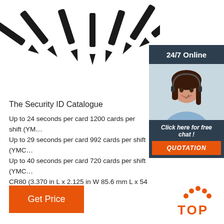[Figure (photo): Several black pointed spike/nail shaped objects fanned out on a white background]
24/7 Online
[Figure (photo): Customer service woman wearing headset smiling]
Click here for free chat !
QUOTATION
The Security ID Catalogue
Up to 24 seconds per card 1200 cards per shift (YM... Up to 29 seconds per card 992 cards per shift (YMC... Up to 40 seconds per card 720 cards per shift (YMC... CR80 (3.370 in L x 2.125 in W 85.6 mm L x 54 mm W...030 in (30 mil) to .050 in (50 mil) ...
Get Price
[Figure (logo): TOP logo with orange dots forming an arch above the word TOP in orange]